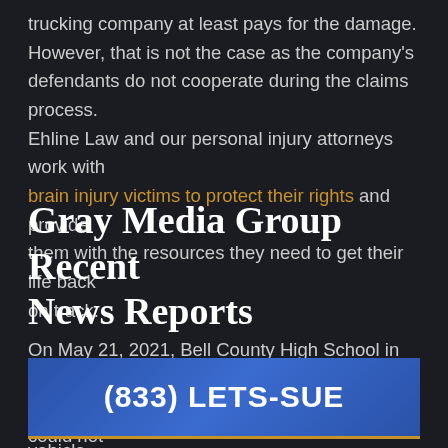trucking company at least pays for the damage. However, that is not the case as the company's defendants do not cooperate during the claims process. Ehline Law and our personal injury attorneys work with brain injury victims to protect their rights and provide them with the resources they need to get their life back on track.
Gray Media Group Recent News Reports
On May 21, 2021, Bell County High School in Kentucky had a empty chairs in honor of students who could not
(833) LETS-SUE
drove the vehicle into an oncoming commercial vehicle.